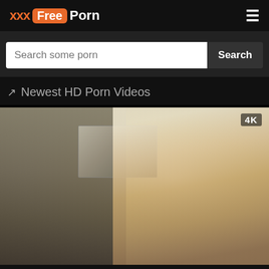[Figure (logo): XXX FreePorn website logo with orange accent and hamburger menu icon]
Search some porn
Search
Newest HD Porn Videos
[Figure (screenshot): Video thumbnail showing a blonde woman indoors, with a 4K badge in the top right corner]